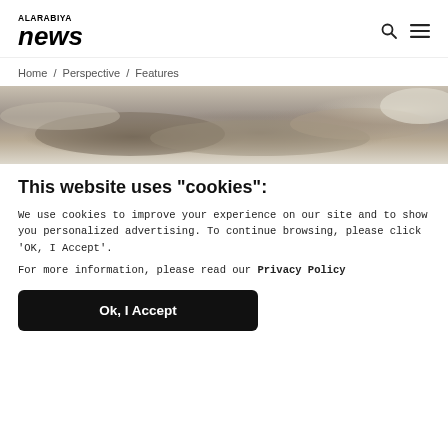ALARABIYA news
Home / Perspective / Features
[Figure (photo): Blurred photo of stacked papers or currency notes in muted tones]
This website uses "cookies":
We use cookies to improve your experience on our site and to show you personalized advertising. To continue browsing, please click 'OK, I Accept'.
For more information, please read our Privacy Policy
Ok, I Accept